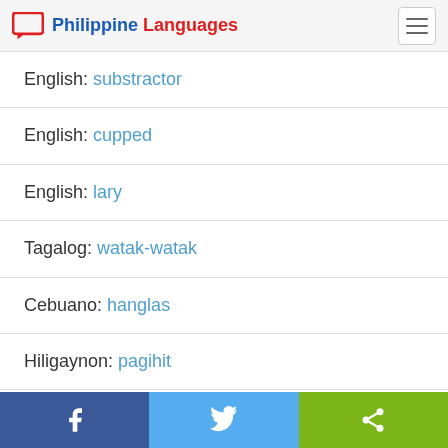Philippine Languages
English: substractor
English: cupped
English: lary
Tagalog: watak-watak
Cebuano: hanglas
Hiligaynon: pagihit
Hiligaynon: bigol-bigol
Facebook  Twitter  Share